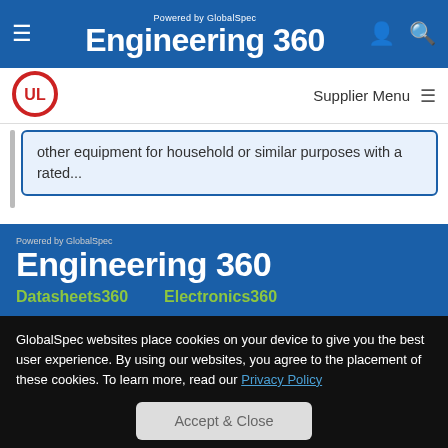Powered by GlobalSpec Engineering 360
[Figure (logo): UL circular logo in red and white]
Supplier Menu
other equipment for household or similar purposes with a rated...
[Figure (logo): Engineering 360 logo powered by GlobalSpec in footer]
Datasheets360   Electronics360
GlobalSpec websites place cookies on your device to give you the best user experience. By using our websites, you agree to the placement of these cookies. To learn more, read our Privacy Policy
Accept & Close